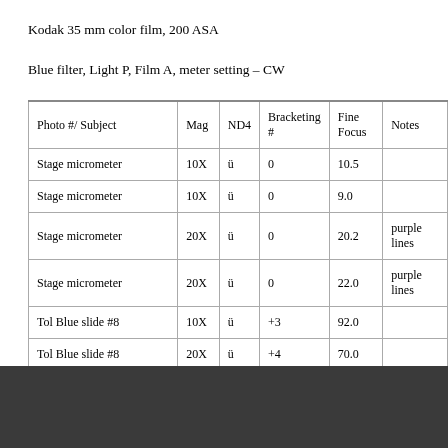Kodak 35 mm color film, 200 ASA
Blue filter, Light P, Film A, meter setting – CW
| Photo #/ Subject | Mag | ND4 | Bracketing # | Fine Focus | Notes |
| --- | --- | --- | --- | --- | --- |
| Stage micrometer | 10X | ü | 0 | 10.5 |  |
| Stage micrometer | 10X | ü | 0 | 9.0 |  |
| Stage micrometer | 20X | ü | 0 | 20.2 | purple lines |
| Stage micrometer | 20X | ü | 0 | 22.0 | purple lines |
| Tol Blue slide #8 | 10X | ü | +3 | 92.0 |  |
| Tol Blue slide #8 | 20X | ü | +4 | 70.0 |  |